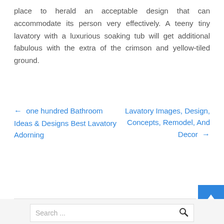place to herald an acceptable design that can accommodate its person very effectively. A teeny tiny lavatory with a luxurious soaking tub will get additional fabulous with the extra of the crimson and yellow-tiled ground.
← one hundred Bathroom Ideas & Designs Best Lavatory Adorning
Lavatory Images, Design, Concepts, Remodel, And Decor →
[Figure (other): Blue scroll-to-top button with white upward arrow]
Search ...